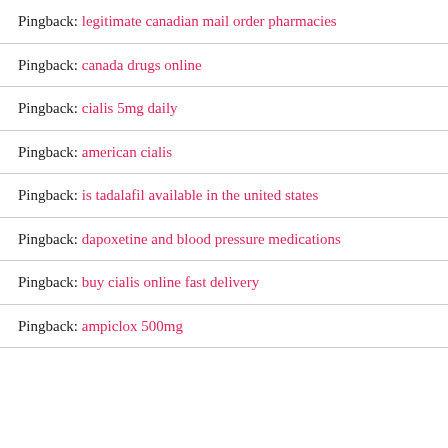Pingback: legitimate canadian mail order pharmacies
Pingback: canada drugs online
Pingback: cialis 5mg daily
Pingback: american cialis
Pingback: is tadalafil available in the united states
Pingback: dapoxetine and blood pressure medications
Pingback: buy cialis online fast delivery
Pingback: ampiclox 500mg